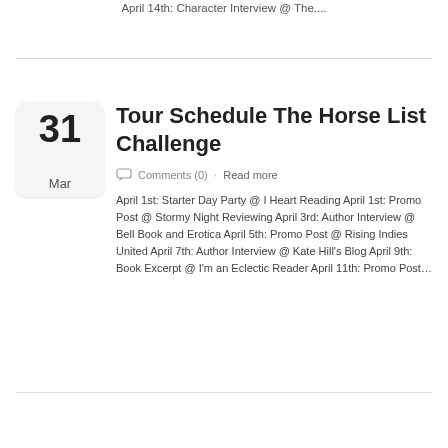April 14th: Character Interview @ The....
Tour Schedule The Horse List Challenge
Comments (0)  ·  Read more
April 1st: Starter Day Party @ I Heart Reading April 1st: Promo Post @ Stormy Night Reviewing April 3rd: Author Interview @  Bell Book and Erotica April 5th: Promo Post @ Rising Indies United April 7th: Author Interview @ Kate Hill's Blog April 9th: Book Excerpt @ I'm an Eclectic Reader April 11th: Promo Post…